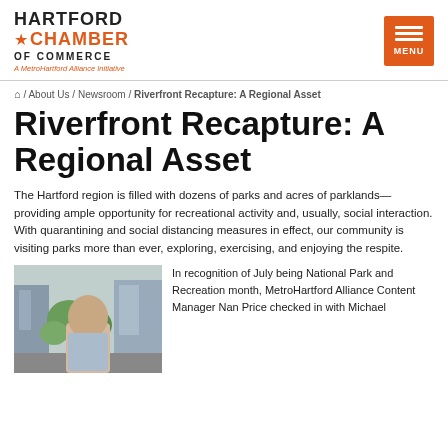HARTFORD CHAMBER OF COMMERCE — A MetroHartford Alliance Initiative
🏠 / About Us / Newsroom / Riverfront Recapture: A Regional Asset
Riverfront Recapture: A Regional Asset
The Hartford region is filled with dozens of parks and acres of parklands—providing ample opportunity for recreational activity and, usually, social interaction. With quarantining and social distancing measures in effect, our community is visiting parks more than ever, exploring, exercising, and enjoying the respite.
[Figure (photo): Photo of a man standing outdoors with city buildings and trees in the background]
In recognition of July being National Park and Recreation month, MetroHartford Alliance Content Manager Nan Price checked in with Michael